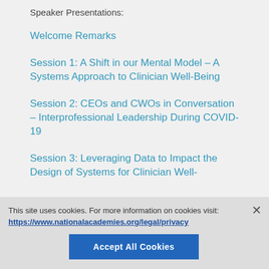Speaker Presentations:
Welcome Remarks
Session 1:  A Shift in our Mental Model – A Systems Approach to Clinician Well-Being
Session 2: CEOs and CWOs in Conversation – Interprofessional Leadership During COVID-19
Session 3: Leveraging Data to Impact the Design of Systems for Clinician Well-
This site uses cookies. For more information on cookies visit: https://www.nationalacademies.org/legal/privacy
Accept All Cookies